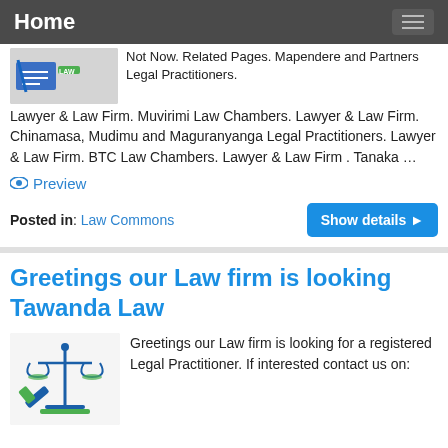Home
[Figure (logo): Law-related logo image with pen, lines, and LAW text]
Not Now. Related Pages. Mapendere and Partners Legal Practitioners. Lawyer & Law Firm. Muvirimi Law Chambers. Lawyer & Law Firm. Chinamasa, Mudimu and Maguranyanga Legal Practitioners. Lawyer & Law Firm. BTC Law Chambers. Lawyer & Law Firm . Tanaka …
Preview
Posted in: Law Commons
Greetings our Law firm is looking Tawanda Law
[Figure (illustration): Scales of justice and gavel illustration in blue and green]
Greetings our Law firm is looking for a registered Legal Practitioner. If interested contact us on: